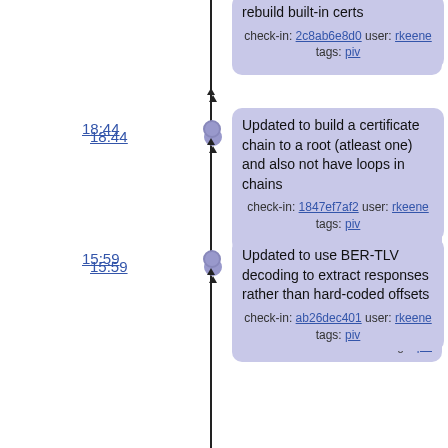rebuild built-in certs
check-in: 2c8ab6e8d0 user: rkeene tags: piv
18:44
Updated to build a certificate chain to a root (atleast one) and also not have loops in chains
check-in: 1847ef7af2 user: rkeene tags: piv
15:59
Updated to use BER-TLV decoding to extract responses rather than hard-coded offsets
check-in: ab26dec401 user: rkeene tags: piv
14:20
Updated to make "leakcheck" more tolerant of %p formats
check-in: 33a93aab41 user: rkeene tags: trunk
14:12
Merged in trunk
check-in: 8f27214611 user: rkeene tags: piv
14:11
Updated debugging messages to be written in a single fprintf() call in an attempt to avoid having them intermingled when